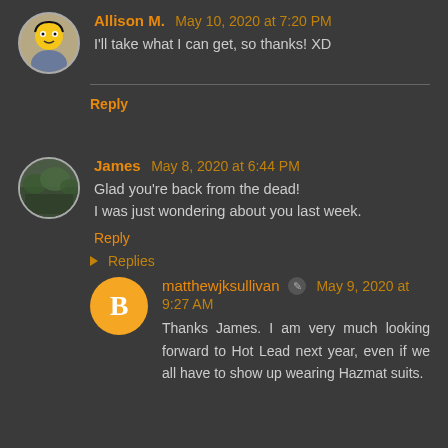Allison M. May 10, 2020 at 7:20 PM
I'll take what I can get, so thanks! XD
Reply
James May 8, 2020 at 6:44 PM
Glad you're back from the dead!
I was just wondering about you last week.
Reply
Replies
matthewjksullivan ✏ May 9, 2020 at 9:27 AM
Thanks James. I am very much looking forward to Hot Lead next year, even if we all have to show up wearing Hazmat suits.